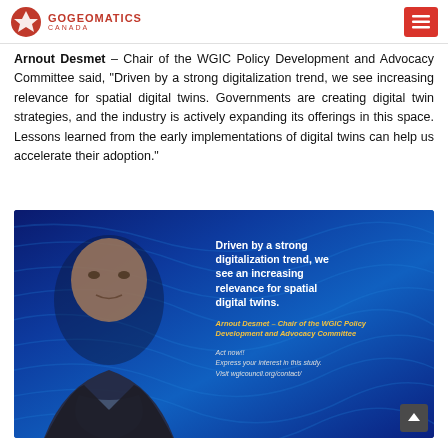GoGeomatics Canada
Arnout Desmet – Chair of the WGIC Policy Development and Advocacy Committee said, "Driven by a strong digitalization trend, we see increasing relevance for spatial digital twins. Governments are creating digital twin strategies, and the industry is actively expanding its offerings in this space. Lessons learned from the early implementations of digital twins can help us accelerate their adoption."
[Figure (photo): Headshot of Arnout Desmet against a blue wave-patterned background with overlaid quote text: 'Driven by a strong digitalization trend, we see an increasing relevance for spatial digital twins.' Attribution: Arnout Desmet – Chair of the WGIC Policy Development and Advocacy Committee. Call to action: Act now!! Express your interest in this study. Visit wgicouncil.org/contact/]